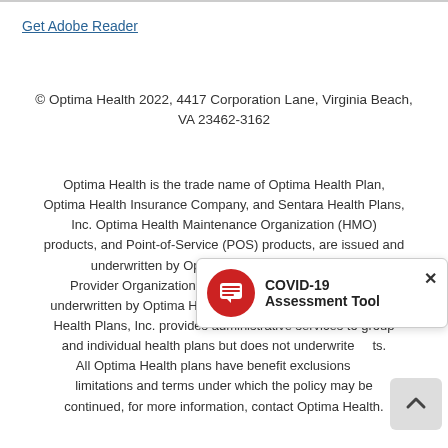Get Adobe Reader
© Optima Health 2022, 4417 Corporation Lane, Virginia Beach, VA 23462-3162
Optima Health is the trade name of Optima Health Plan, Optima Health Insurance Company, and Sentara Health Plans, Inc. Optima Health Maintenance Organization (HMO) products, and Point-of-Service (POS) products, are issued and underwritten by Optima Health Plan. Preferred Provider Organization (PPO) products are issued and underwritten by Optima Health Insurance Company. Sentara Health Plans, Inc. provides administrative services to group and individual health plans but does not underwrite benefits. All Optima Health plans have benefit exclusions, limitations and terms under which the policy may be continued, for more information, contact Optima Health.
[Figure (infographic): COVID-19 Assessment Tool popup widget with red chat icon and close button]
[Figure (other): Scroll-to-top chevron button]